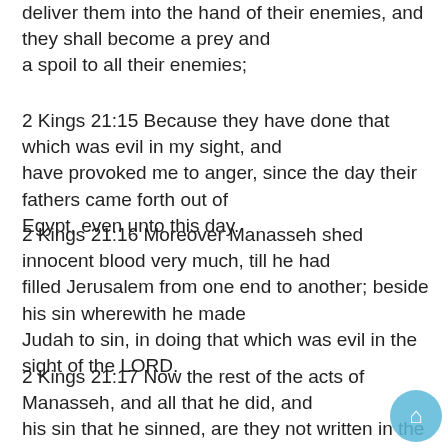deliver them into the hand of their enemies, and they shall become a prey and a spoil to all their enemies;
2 Kings 21:15 Because they have done that which was evil in my sight, and have provoked me to anger, since the day their fathers came forth out of Egypt, even unto this day.
2 Kings 21:16 Moreover Manasseh shed innocent blood very much, till he had filled Jerusalem from one end to another; beside his sin wherewith he made Judah to sin, in doing that which was evil in the sight of the LORD.
2 Kings 21:17 Now the rest of the acts of Manasseh, and all that he did, and his sin that he sinned, are they not written in the book